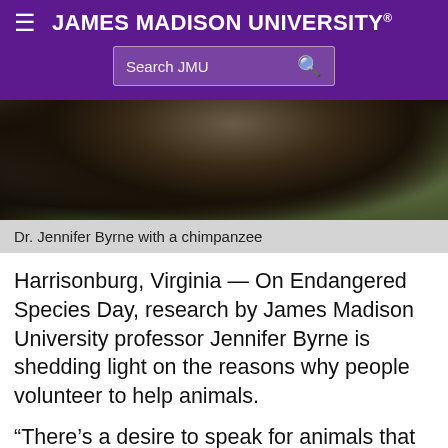JAMES MADISON UNIVERSITY
[Figure (photo): Close-up photo of a chimpanzee outdoors on grass, dark fur visible with some reddish-brown coloring, green grass in background]
Dr. Jennifer Byrne with a chimpanzee
Harrisonburg, Virginia — On Endangered Species Day, research by James Madison University professor Jennifer Byrne is shedding light on the reasons why people volunteer to help animals.
“There’s a desire to speak for animals that can’t speak for themselves,” said Byrne, whose interest is in the intersection of human animal studies and political science